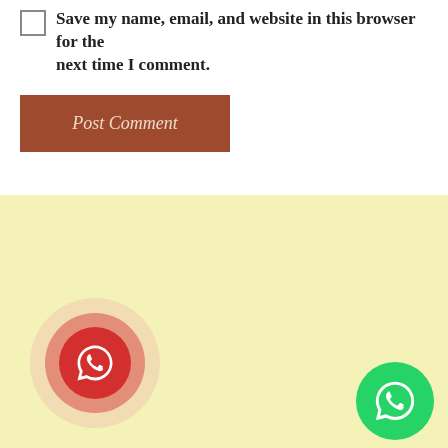Save my name, email, and website in this browser for the next time I comment.
[Figure (other): Post Comment button (brown/terracotta colored rectangular button with italic serif text)]
[Figure (other): Light yellow background footer section with two WhatsApp icon buttons: a large red one on the left with concentric circle rings, and a smaller green one on the bottom right]